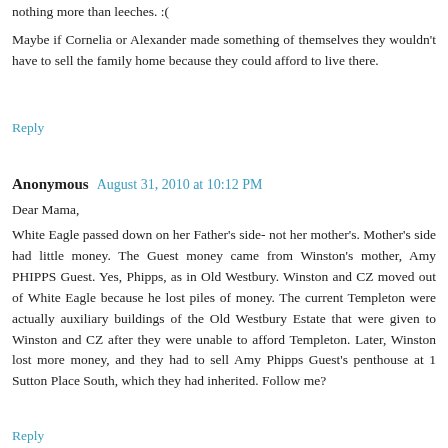nothing more than leeches. :(
Maybe if Cornelia or Alexander made something of themselves they wouldn't have to sell the family home because they could afford to live there.
Reply
Anonymous  August 31, 2010 at 10:12 PM
Dear Mama,
White Eagle passed down on her Father's side- not her mother's. Mother's side had little money. The Guest money came from Winston's mother, Amy PHIPPS Guest. Yes, Phipps, as in Old Westbury. Winston and CZ moved out of White Eagle because he lost piles of money. The current Templeton were actually auxiliary buildings of the Old Westbury Estate that were given to Winston and CZ after they were unable to afford Templeton. Later, Winston lost more money, and they had to sell Amy Phipps Guest's penthouse at 1 Sutton Place South, which they had inherited. Follow me?
Reply